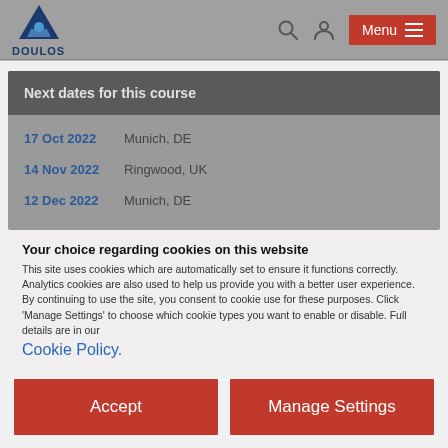[Figure (logo): Doulos company logo — blue triangle/shield icon with 'DOULOS' text below]
Next dates for this course
17 Oct 2022  Munich, DE
14 Nov 2022  Ringwood, UK
12 Dec 2022  Munich, DE
Your choice regarding cookies on this website
This site uses cookies which are automatically set to ensure it functions correctly. Analytics cookies are also used to help us provide you with a better user experience.
By continuing to use the site, you consent to cookie use for these purposes. Click 'Manage Settings' to choose which cookie types you want to enable or disable. Full details are in our Cookie Policy.
Accept
Manage Settings